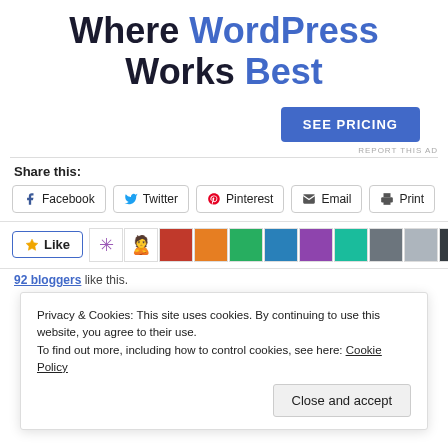Where WordPress Works Best
SEE PRICING
REPORT THIS AD
Share this:
Facebook
Twitter
Pinterest
Email
Print
92 bloggers like this.
Privacy & Cookies: This site uses cookies. By continuing to use this website, you agree to their use.
To find out more, including how to control cookies, see here: Cookie Policy
Close and accept